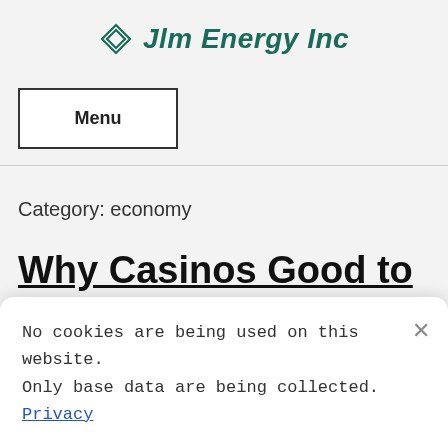Jlm Energy Inc
Menu
Category: economy
Why Casinos Good to
No cookies are being used on this website. Only base data are being collected. Privacy